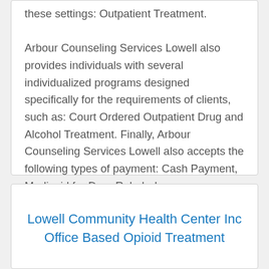these settings: Outpatient Treatment. Arbour Counseling Services Lowell also provides individuals with several individualized programs designed specifically for the requirements of clients, such as: Court Ordered Outpatient Drug and Alcohol Treatment. Finally, Arbour Counseling Services Lowell also accepts the following types of payment: Cash Payment, Medicaid for Drug Rehab, Insurance Through Medicare.
Lowell Community Health Center Inc Office Based Opioid Treatment